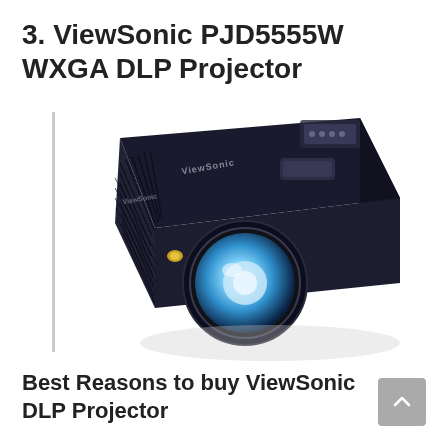3. ViewSonic PJD5555W WXGA DLP Projector
[Figure (photo): ViewSonic PJD5555W WXGA DLP Projector shown in a 3/4 perspective view. The projector is black, featuring a large circular lens emitting a blue-white glow, ventilation grilles on the left side, control buttons on top, and the ViewSonic logo on the front and top surfaces.]
Best Reasons to buy ViewSonic DLP Projector